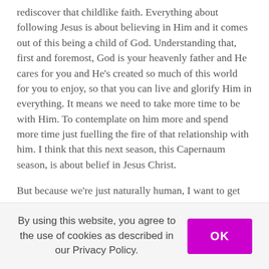rediscover that childlike faith. Everything about following Jesus is about believing in Him and it comes out of this being a child of God. Understanding that, first and foremost, God is your heavenly father and He cares for you and He’s created so much of this world for you to enjoy, so that you can live and glorify Him in everything. It means we need to take more time to be with Him. To contemplate on him more and spend more time just fuelling the fire of that relationship with him. I think that this next season, this Capernaum season, is about belief in Jesus Christ.
But because we’re just naturally human, I want to get on and do some stuff too. I don’t know if you noticed but the word work is in there “the work of the Lord”.
By using this website, you agree to the use of cookies as described in our Privacy Policy.